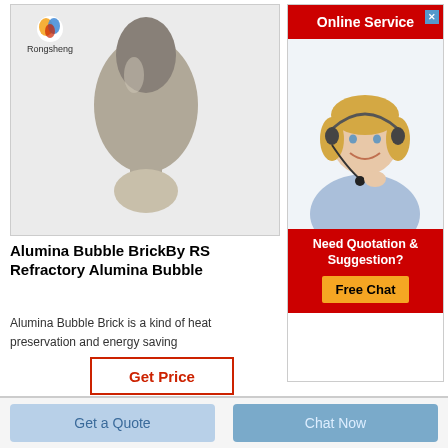[Figure (photo): Product photo of Alumina Bubble Brick shaped like a rounded flask/bulb, grey-beige color, on a light grey background. Rongsheng logo (colorful globe icon) and brand name in top left.]
Alumina Bubble BrickBy RS Refractory Alumina Bubble
Alumina Bubble Brick is a kind of heat preservation and energy saving
Get Price
[Figure (screenshot): Online Service widget with red header saying 'Online Service', a close X button, photo of smiling female customer service agent with headset, and red footer with text 'Need Quotation & Suggestion?' and a yellow 'Free Chat' button.]
Get a Quote
Chat Now